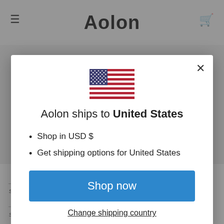[Figure (screenshot): Background website header showing hamburger menu icon, Aolon logo, and shopping cart icon on grey background]
[Figure (photo): US flag emoji/illustration centered in the modal]
Aolon ships to United States
Shop in USD $
Get shipping options for United States
Shop now
Change shipping country
_secure_session_id, unique token, sessional storefront_digest, unique token, indefinite If the shop have a